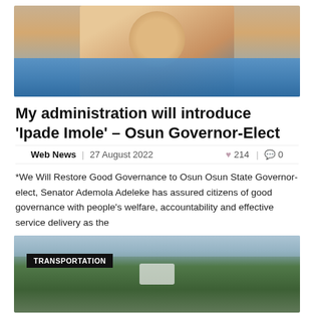[Figure (photo): Portrait photo of a man in blue traditional Nigerian attire with red bead bracelet, hand raised]
My administration will introduce ‘Ipade Imole’ – Osun Governor-Elect
Web News | 27 August 2022   ❤ 214 | 💬 0
*We Will Restore Good Governance to Osun Osun State Governor-elect, Senator Ademola Adeleke has assured citizens of good governance with people’s welfare, accountability and effective service delivery as the
[Figure (photo): Outdoor photo with trees and greenery, TRANSPORTATION label badge overlaid in black]